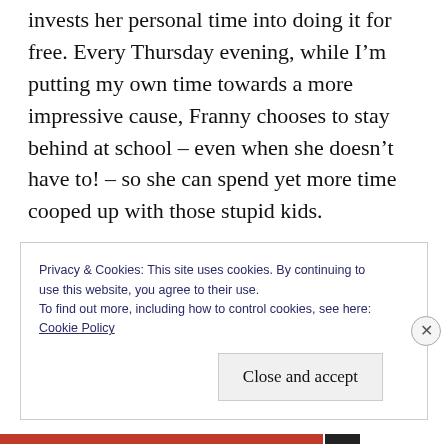invests her personal time into doing it for free. Every Thursday evening, while I'm putting my own time towards a more impressive cause, Franny chooses to stay behind at school – even when she doesn't have to! – so she can spend yet more time cooped up with those stupid kids.
If anything, she's always had lady luck smiling upon her, she gets to live her dreams on a daily basis and be married to a precious and rare gem
Privacy & Cookies: This site uses cookies. By continuing to use this website, you agree to their use.
To find out more, including how to control cookies, see here:
Cookie Policy
Close and accept